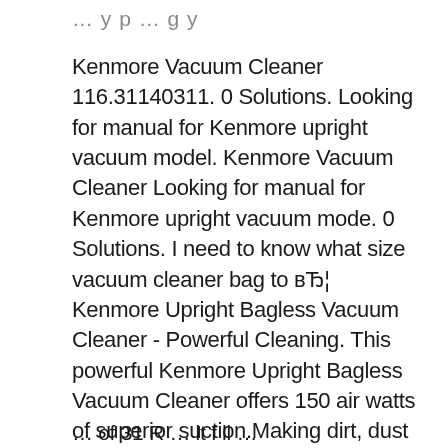…y p … g y
Kenmore Vacuum Cleaner 116.31140311. 0 Solutions. Looking for manual for Kenmore upright vacuum model. Kenmore Vacuum Cleaner Looking for manual for Kenmore upright vacuum mode. 0 Solutions. I need to know what size vacuum cleaner bag to вЂ¦ Kenmore Upright Bagless Vacuum Cleaner - Powerful Cleaning. This powerful Kenmore Upright Bagless Vacuum Cleaner offers 150 air watts of superior suction.Making dirt, dust and crumbs vanish from your home is as easy as gliding its smooth, resistance-free wheels across the surface.
… of 31 R … lt f ll …